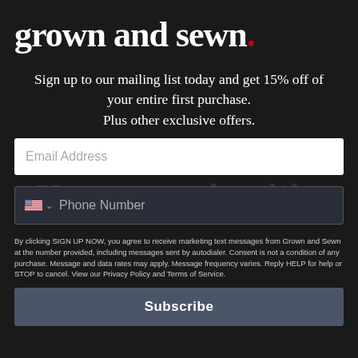grown and sewn.
Sign up to our mailing list today and get 15% off of your entire first purchase. Plus other exclusive offers.
[Figure (screenshot): Email address input field (white box with placeholder text 'Email Address')]
[Figure (screenshot): Phone number input field with US flag and dropdown chevron, placeholder text 'Phone Number']
By clicking SIGN UP NOW, you agree to receive marketing text messages from Grown and Sewn at the number provided, including messages sent by autodialer. Consent is not a condition of any purchase. Message and data rates may apply. Message frequency varies. Reply HELP for help or STOP to cancel. View our Privacy Policy and Terms of Service.
[Figure (screenshot): Subscribe button (dark slate blue background with bold white text 'Subscribe')]